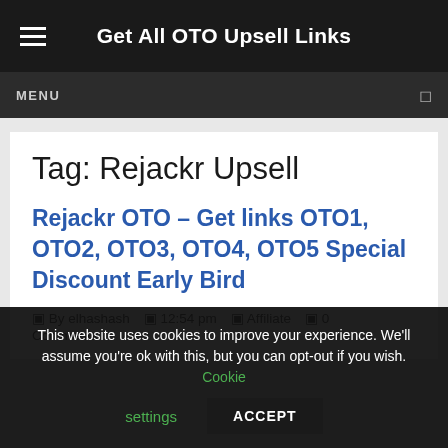Get All OTO Upsell Links
MENU
Tag: Rejackr Upsell
Rejackr OTO – Get links OTO1, OTO2, OTO3, OTO4, OTO5 Special Discount Early Bird
By elhashash  12:54 pm  Affiliate  0 Comments
This website uses cookies to improve your experience. We'll assume you're ok with this, but you can opt-out if you wish. Cookie settings ACCEPT